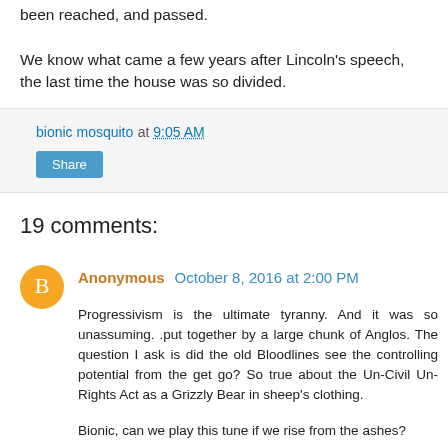been reached, and passed.
We know what came a few years after Lincoln's speech, the last time the house was so divided.
bionic mosquito at 9:05 AM
Share
19 comments:
Anonymous October 8, 2016 at 2:00 PM
Progressivism is the ultimate tyranny. And it was so unassuming. .put together by a large chunk of Anglos. The question I ask is did the old Bloodlines see the controlling potential from the get go? So true about the Un-Civil Un-Rights Act as a Grizzly Bear in sheep's clothing.
Bionic, can we play this tune if we rise from the ashes?
https://m.youtube.com/watch?v=dq4aQaDXIfY